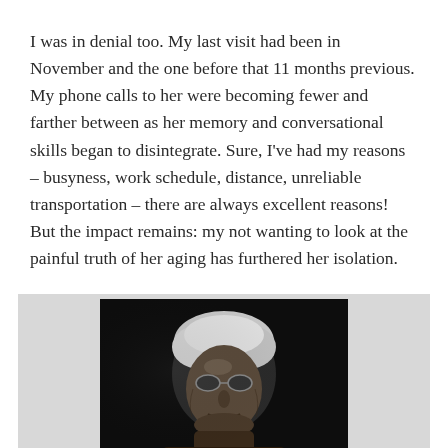I was in denial too. My last visit had been in November and the one before that 11 months previous. My phone calls to her were becoming fewer and farther between as her memory and conversational skills began to disintegrate. Sure, I've had my reasons – busyness, work schedule, distance, unreliable transportation – there are always excellent reasons! But the impact remains: my not wanting to look at the painful truth of her aging has furthered her isolation.
[Figure (photo): Black and white photograph of an elderly person with white hair and glasses, shown from approximately the shoulders up, against a dark background, displayed within a light gray frame.]